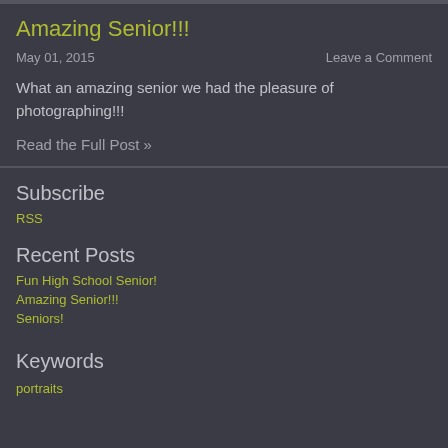Amazing Senior!!!
May 01, 2015
Leave a Comment
What an amazing senior we had the pleasure of photographing!!!
Read the Full Post »
Subscribe
RSS
Recent Posts
Fun High School Senior!
Amazing Senior!!!
Seniors!
Keywords
portraits